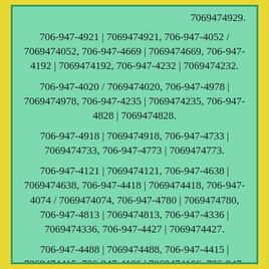7069474929.
706-947-4921 | 7069474921, 706-947-4052 / 7069474052, 706-947-4669 | 7069474669, 706-947-4192 | 7069474192, 706-947-4232 | 7069474232.
706-947-4020 / 7069474020, 706-947-4978 | 7069474978, 706-947-4235 | 7069474235, 706-947-4828 | 7069474828.
706-947-4918 | 7069474918, 706-947-4733 | 7069474733, 706-947-4773 | 7069474773.
706-947-4121 | 7069474121, 706-947-4638 | 7069474638, 706-947-4418 | 7069474418, 706-947-4074 / 7069474074, 706-947-4780 | 7069474780, 706-947-4813 | 7069474813, 706-947-4336 | 7069474336, 706-947-4427 | 7069474427.
706-947-4488 | 7069474488, 706-947-4415 | 7069474415, 706-947-4106 | 7069474106, 706-947-4608 | 7069474608, 706-947-4817 | 7069474817, 706-947-4833 | 7069474833, 706-947-4165 | 7069474165, 706-947-4354 |